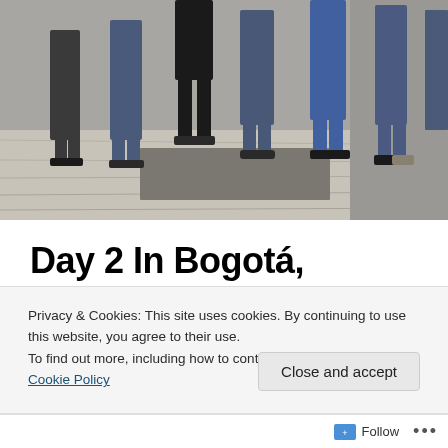[Figure (photo): Group of people standing on a paved outdoor area, only their lower bodies visible, wearing jeans and casual shoes. The background shows a historic stone building or plaza.]
Day 2 In Bogotá, Colombia
After eating breakfast in the morning, we hopped onto the tour bus and drove to La Candelaria, a historic neighborhood in downtown Bogotá. It is said that Colombia is one of the most bio-diverse countries in the
Privacy & Cookies: This site uses cookies. By continuing to use this website, you agree to their use.
To find out more, including how to control cookies, see here: Cookie Policy
Follow ...